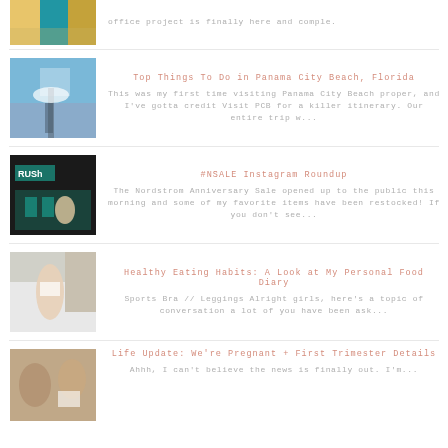[Figure (photo): Partial view of colorful office/home decor image at top]
office project is finally here and comple.
[Figure (photo): Woman walking on a marina dock in Panama City Beach]
Top Things To Do in Panama City Beach, Florida
This was my first time visiting Panama City Beach proper, and I've gotta credit Visit PCB for a killer itinerary. Our entire trip w...
[Figure (photo): Blonde woman sitting at a table with RUSH signage in background]
#NSALE Instagram Roundup
The Nordstrom Anniversary Sale opened up to the public this morning and some of my favorite items have been restocked! If you don't see...
[Figure (photo): Blonde woman in sports bra and leggings in a kitchen]
Healthy Eating Habits: A Look at My Personal Food Diary
Sports Bra // Leggings  Alright girls, here's a topic of conversation a lot of you have been ask...
[Figure (photo): Couple looking at a pregnancy ultrasound photo]
Life Update: We're Pregnant + First Trimester Details
Ahhh, I can't believe the news is finally out. I'm...